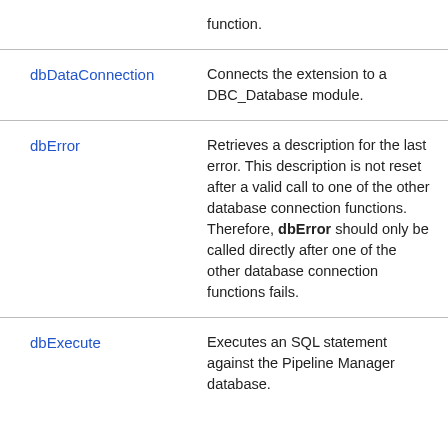| Function | Description |
| --- | --- |
| (partial — function.) | (partial text at top) |
| dbDataConnection | Connects the extension to a DBC_Database module. |
| dbError | Retrieves a description for the last error. This description is not reset after a valid call to one of the other database connection functions. Therefore, dbError should only be called directly after one of the other database connection functions fails. |
| dbExecute | Executes an SQL statement against the Pipeline Manager database. |